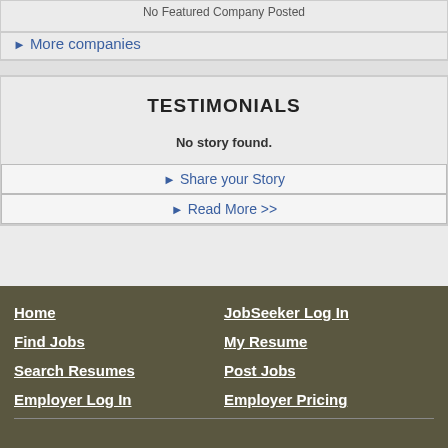No Featured Company Posted
More companies
TESTIMONIALS
No story found.
Share your Story
Read More >>
Home | Find Jobs | Search Resumes | Employer Log In | JobSeeker Log In | My Resume | Post Jobs | Employer Pricing